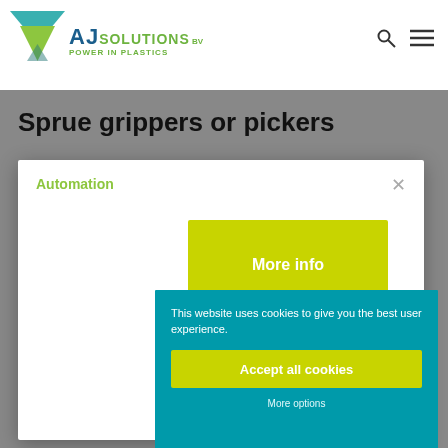[Figure (logo): AJ Solutions BV logo with triangle icon and 'POWER IN PLASTICS' tagline]
Sprue grippers or pickers
Automation
More info
[Figure (logo): GEIGER HANDLING logo in grey italic]
This website uses cookies to give you the best user experience.
Accept all cookies
More options